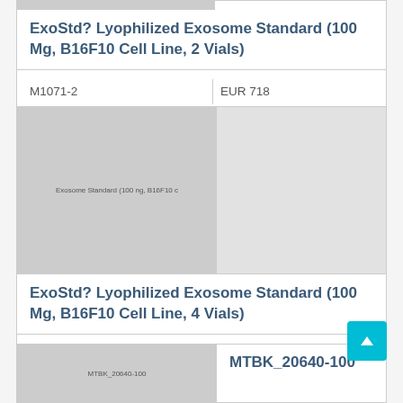| Product | SKU | Price |
| --- | --- | --- |
| ExoStd? Lyophilized Exosome Standard (100 Mg, B16F10 Cell Line, 2 Vials) | M1071-2 | EUR 718 |
[Figure (photo): Product image placeholder for ExoStd Lyophilized Exosome Standard 100mg B16F10 Cell Line 4 Vials]
| Product | SKU | Price |
| --- | --- | --- |
| ExoStd? Lyophilized Exosome Standard (100 Mg, B16F10 Cell Line, 4 Vials) | M1071-4 | EUR 1142 |
[Figure (photo): Product image placeholder for MTBK_20640-100]
MTBK_20640-100